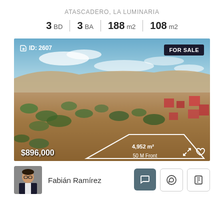ATASCADERO, LA LUMINARIA
3 BD | 3 BA | 188 m2 | 108 m2
[Figure (photo): Aerial drone photograph of a large land parcel (4,952 m²) in a semi-arid landscape with scattered trees and residential development. A white polygon outlines the lot boundary with '4,952 m²' labeled inside and '50 M Front' along the bottom edge. Price $896,000 shown at bottom left. 'FOR SALE' badge at top right. 'ID: 2607' at top left.]
Fabián Ramírez